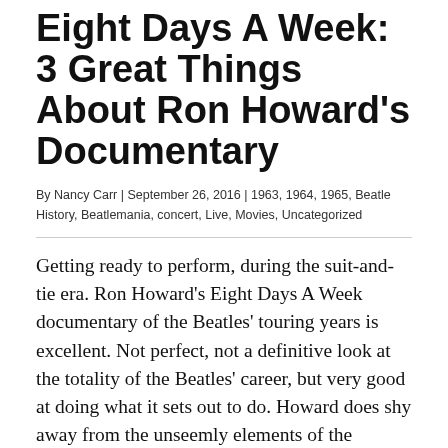Eight Days A Week: 3 Great Things About Ron Howard's Documentary
By Nancy Carr | September 26, 2016 | 1963, 1964, 1965, Beatle History, Beatlemania, concert, Live, Movies, Uncategorized
Getting ready to perform, during the suit-and-tie era. Ron Howard's Eight Days A Week documentary of the Beatles' touring years is excellent. Not perfect, not a definitive look at the totality of the Beatles' career, but very good at doing what it sets out to do. Howard does shy away from the unseemly elements of the Beatles' life on the road, most obviously the rampant sex.